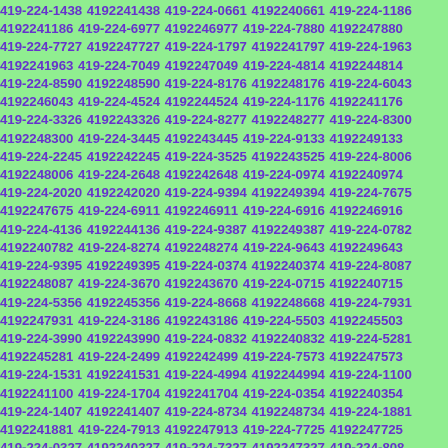419-224-1438 4192241438 419-224-0661 4192240661 419-224-1186 4192241186 419-224-6977 4192246977 419-224-7880 4192247880 419-224-7727 4192247727 419-224-1797 4192241797 419-224-1963 4192241963 419-224-7049 4192247049 419-224-4814 4192244814 419-224-8590 4192248590 419-224-8176 4192248176 419-224-6043 4192246043 419-224-4524 4192244524 419-224-1176 4192241176 419-224-3326 4192243326 419-224-8277 4192248277 419-224-8300 4192248300 419-224-3445 4192243445 419-224-9133 4192249133 419-224-2245 4192242245 419-224-3525 4192243525 419-224-8006 4192248006 419-224-2648 4192242648 419-224-0974 4192240974 419-224-2020 4192242020 419-224-9394 4192249394 419-224-7675 4192247675 419-224-6911 4192246911 419-224-6916 4192246916 419-224-4136 4192244136 419-224-9387 4192249387 419-224-0782 4192240782 419-224-8274 4192248274 419-224-9643 4192249643 419-224-9395 4192249395 419-224-0374 4192240374 419-224-8087 4192248087 419-224-3670 4192243670 419-224-0715 4192240715 419-224-5356 4192245356 419-224-8668 4192248668 419-224-7931 4192247931 419-224-3186 4192243186 419-224-5503 4192245503 419-224-3990 4192243990 419-224-0832 4192240832 419-224-5281 4192245281 419-224-2499 4192242499 419-224-7573 4192247573 419-224-1531 4192241531 419-224-4994 4192244994 419-224-1100 4192241100 419-224-1704 4192241704 419-224-0354 4192240354 419-224-1407 4192241407 419-224-8734 4192248734 419-224-1881 4192241881 419-224-7913 4192247913 419-224-7725 4192247725 419-224-0327 4192240327 419-224-7327 4192247327 419-224-8087